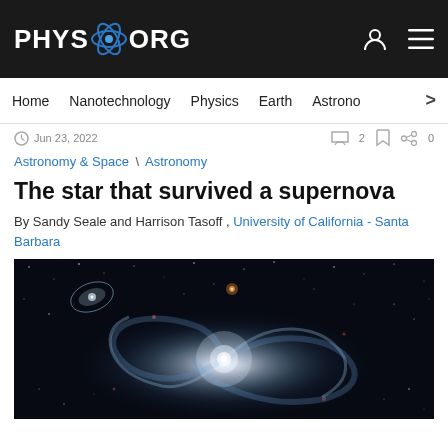PHYS.ORG
Home | Nanotechnology | Physics | Earth | Astronomy >
Jun 23, 2022
Astronomy & Space \ Astronomy
The star that survived a supernova
By Sandy Seale and Harrison Tasoff , University of California - Santa Barbara
[Figure (photo): Hubble Space Telescope image of a spiral galaxy against a dark starfield background, with a bright core and blue spiral arms visible. A smaller spiral galaxy is visible in the upper left corner.]